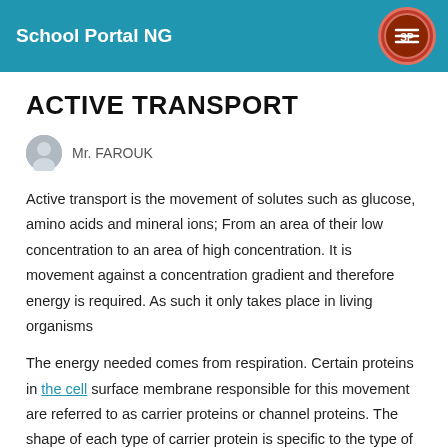School Portal NG
ACTIVE TRANSPORT
Mr. FAROUK
Active transport is the movement of solutes such as glucose, amino acids and mineral ions; From an area of their low concentration to an area of high concentration. It is movement against a concentration gradient and therefore energy is required. As such it only takes place in living organisms
The energy needed comes from respiration. Certain proteins in the cell surface membrane responsible for this movement are referred to as carrier proteins or channel proteins. The shape of each type of carrier protein is specific to the type of substances transported. It has also been shown that the shape changes after